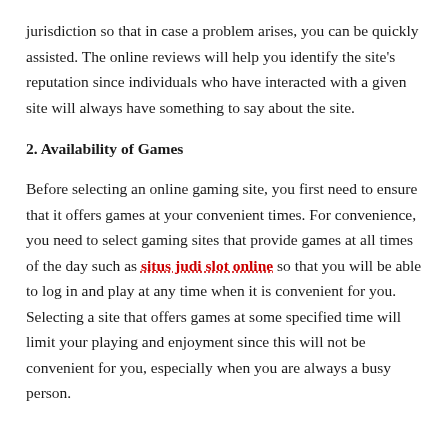jurisdiction so that in case a problem arises, you can be quickly assisted. The online reviews will help you identify the site's reputation since individuals who have interacted with a given site will always have something to say about the site.
2. Availability of Games
Before selecting an online gaming site, you first need to ensure that it offers games at your convenient times. For convenience, you need to select gaming sites that provide games at all times of the day such as situs judi slot online so that you will be able to log in and play at any time when it is convenient for you. Selecting a site that offers games at some specified time will limit your playing and enjoyment since this will not be convenient for you, especially when you are always a busy person.